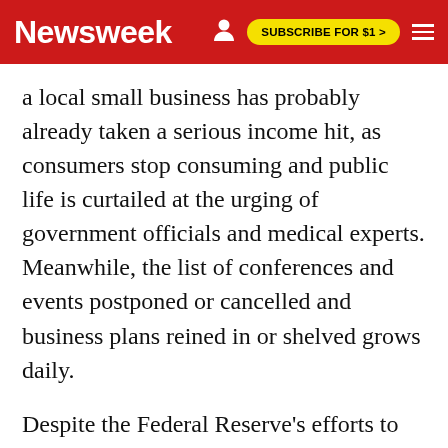Newsweek | SUBSCRIBE FOR $1 >
a local small business has probably already taken a serious income hit, as consumers stop consuming and public life is curtailed at the urging of government officials and medical experts. Meanwhile, the list of conferences and events postponed or cancelled and business plans reined in or shelved grows daily.
Despite the Federal Reserve's efforts to keep pumping money into the economy to keep it afloat and the $1 trillion stimulus package being planned in Washington, recession at this